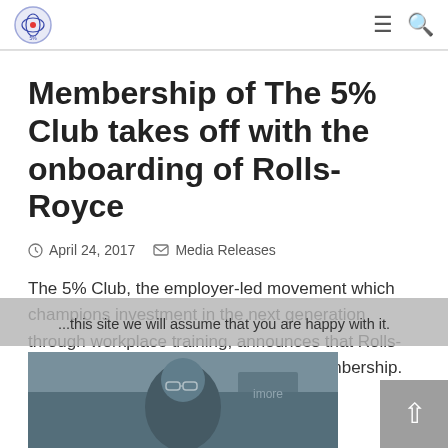[Logo] ≡ 🔍
Membership of The 5% Club takes off with the onboarding of Rolls-Royce
April 24, 2017   Media Releases
The 5% Club, the employer-led movement which champions investment in the next generation through workplace training, announces that Rolls-Royce has joined its rapidly growing membership.
...this site we will assume that you are happy with it.
[Figure (photo): Photo of a person wearing glasses looking down, in an office environment, with office equipment in the background.]